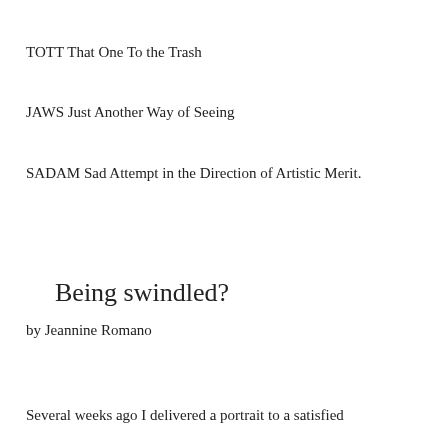TOTT That One To the Trash
JAWS Just Another Way of Seeing
SADAM Sad Attempt in the Direction of Artistic Merit.
Being swindled?
by Jeannine Romano
Several weeks ago I delivered a portrait to a satisfied